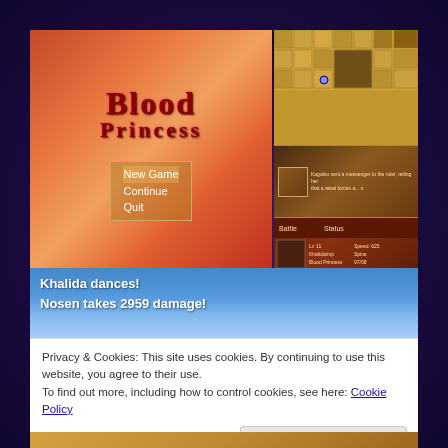[Figure (screenshot): Blood Princess RPG game screenshot composite: main title screen showing 'Blood Princess' with menu options (New Game, Continue, Quit) on a red/orange fantasy background with rock formations. Top-right shows a top-down RPG map view. Middle-right shows a dialog/conversation scene. Bottom-right shows a character stats/battle screen. Bottom portion shows a battle scene with blue sky and desert landscape.]
Khalida dances!
Nosen takes 2959 damage!
Privacy & Cookies: This site uses cookies. By continuing to use this website, you agree to their use.
To find out more, including how to control cookies, see here: Cookie Policy
Close and accept